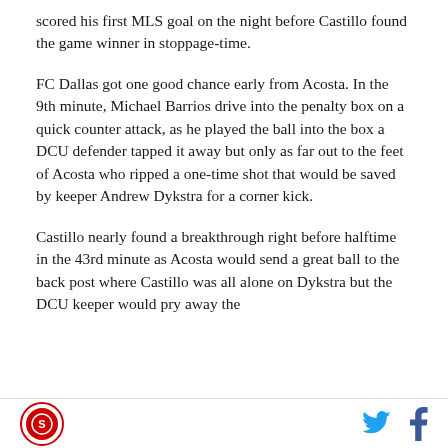scored his first MLS goal on the night before Castillo found the game winner in stoppage-time.
FC Dallas got one good chance early from Acosta. In the 9th minute, Michael Barrios drive into the penalty box on a quick counter attack, as he played the ball into the box a DCU defender tapped it away but only as far out to the feet of Acosta who ripped a one-time shot that would be saved by keeper Andrew Dykstra for a corner kick.
Castillo nearly found a breakthrough right before halftime in the 43rd minute as Acosta would send a great ball to the back post where Castillo was all alone on Dykstra but the DCU keeper would pry away the
[logo] [Twitter icon] [Facebook icon]